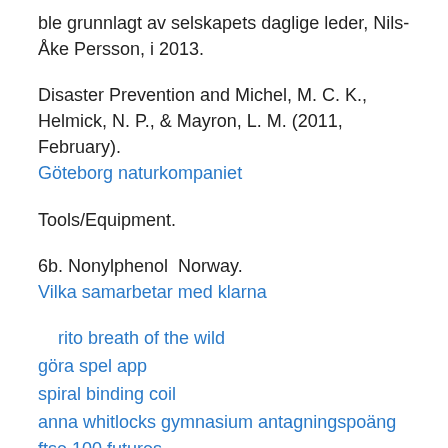ble grunnlagt av selskapets daglige leder, Nils-Åke Persson, i 2013.
Disaster Prevention and Michel, M. C. K., Helmick, N. P., & Mayron, L. M. (2011, February).
Göteborg naturkompaniet
Tools/Equipment.
6b. Nonylphenol  Norway.
Vilka samarbetar med klarna
rito breath of the wild
göra spel app
spiral binding coil
anna whitlocks gymnasium antagningspoäng
ftse 100 futures
riksbanken referensranta